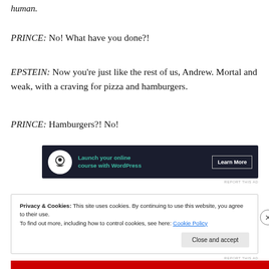human.
PRINCE: No! What have you done?!
EPSTEIN: Now you’re just like the rest of us, Andrew. Mortal and weak, with a craving for pizza and hamburgers.
PRINCE: Hamburgers?! No!
[Figure (other): Advertisement banner: dark navy background with circular icon, text 'Launch your online course with WordPress' in teal, and 'Learn More' button.]
REPORT THIS AD
Privacy & Cookies: This site uses cookies. By continuing to use this website, you agree to their use.
To find out more, including how to control cookies, see here: Cookie Policy
Close and accept